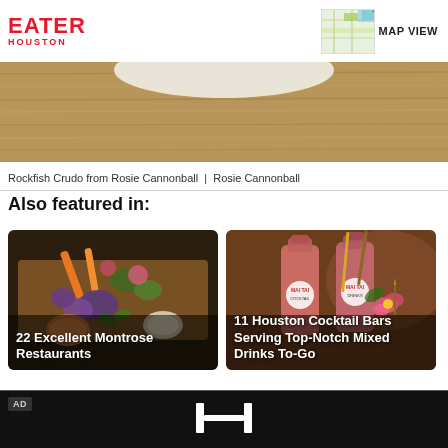EATER HOUSTON
[Figure (photo): Map thumbnail showing street map with green and yellow areas]
[Figure (photo): Hero image: close-up of a bowl on wooden surface, cropped at top]
Rockfish Crudo from Rosie Cannonball  |  Rosie Cannonball
Also featured in:
[Figure (photo): Card image: colorful vegetable and food platter on a wooden board with dipping sauces. Title overlay: 22 Excellent Montrose Restaurants]
[Figure (photo): Card image: two bottles of pinkish cocktail with floral garnish and straws. Title overlay: 11 Houston Cocktail Bars Serving Top-Notch Mixed Drinks To-Go]
[Figure (photo): Ad strip with Honda logo on black background. AD badge visible.]